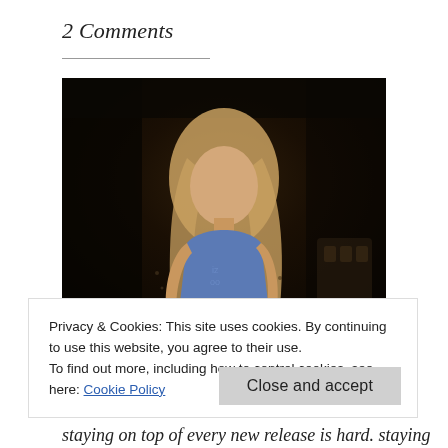2 Comments
[Figure (photo): A young woman with long blonde hair wearing a blue t-shirt, photographed at night against a very dark background. She is looking toward the camera slightly turned.]
Privacy & Cookies: This site uses cookies. By continuing to use this website, you agree to their use.
To find out more, including how to control cookies, see here: Cookie Policy
staying on top of every new release is hard.  staying